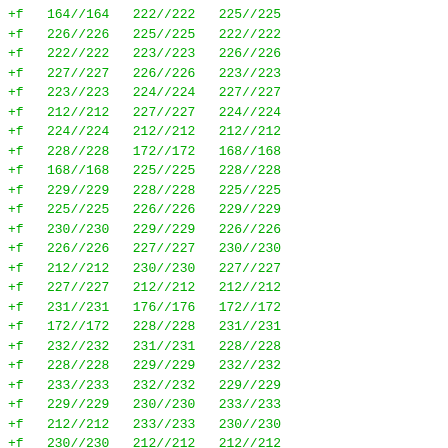+f 164//164 222//222 225//225
+f 226//226 225//225 222//222
+f 222//222 223//223 226//226
+f 227//227 226//226 223//223
+f 223//223 224//224 227//227
+f 212//212 227//227 224//224
+f 224//224 212//212 212//212
+f 228//228 172//172 168//168
+f 168//168 225//225 228//228
+f 229//229 228//228 225//225
+f 225//225 226//226 229//229
+f 230//230 229//229 226//226
+f 226//226 227//227 230//230
+f 212//212 230//230 227//227
+f 227//227 212//212 212//212
+f 231//231 176//176 172//172
+f 172//172 228//228 231//231
+f 232//232 231//231 228//228
+f 228//228 229//229 232//232
+f 233//233 232//232 229//229
+f 229//229 230//230 233//233
+f 212//212 233//233 230//230
+f 230//230 212//212 212//212
+f 234//234 180//180 176//176
+f 176//176 231//231 234//234
+f 235//235 234//234 231//231
+f 231//231 232//232 235//235
+f 236//236 235//235 232//232
+f 232//232 233//233 236//236
+f 212//212 236//236 233//233
+f 233//233 212//212 212//212
+f 237//237 184//184 180//180